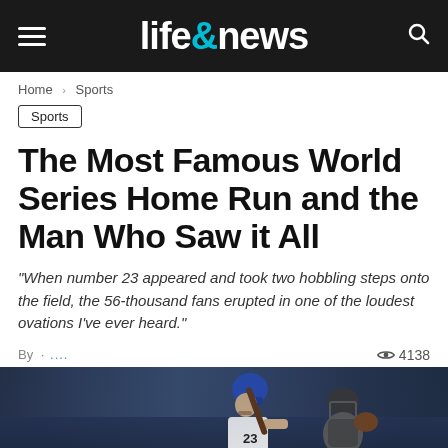life&news
Home > Sports
Sports
The Most Famous World Series Home Run and the Man Who Saw it All
"When number 23 appeared and took two hobbling steps onto the field, the 56-thousand fans erupted in one of the loudest ovations I've ever heard."
By [author] · 4138 views
[Figure (photo): Baseball player batting, with catcher behind, dark stadium crowd background]